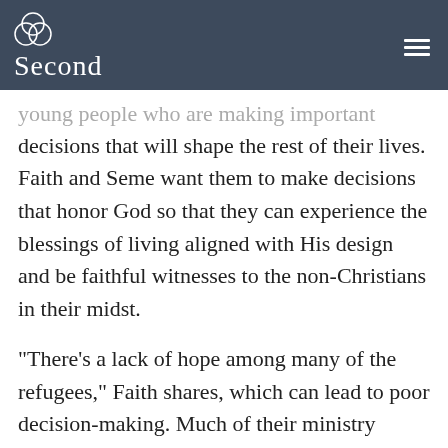Second
young people who are making important decisions that will shape the rest of their lives. Faith and Seme want them to make decisions that honor God so that they can experience the blessings of living aligned with His design and be faithful witnesses to the non-Christians in their midst.
“There’s a lack of hope among many of the refugees,” Faith shares, which can lead to poor decision-making. Much of their ministry centers around instilling gospel-centered hope in the hearts of those that have left